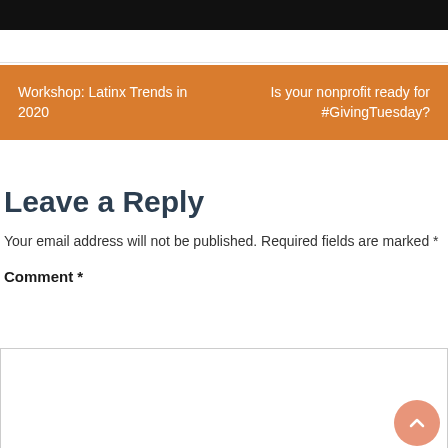[Figure (other): Black bar at top of page]
Workshop: Latinx Trends in 2020  Is your nonprofit ready for #GivingTuesday?
Leave a Reply
Your email address will not be published. Required fields are marked *
Comment *